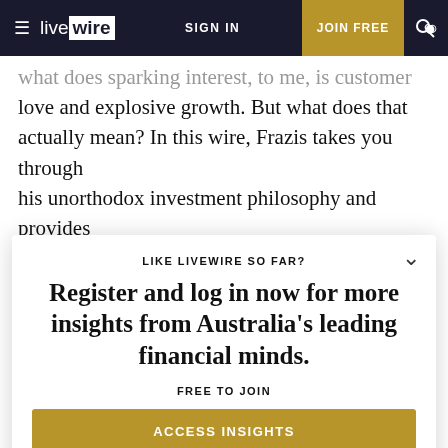livewire | SIGN IN | JOIN FREE
...what does sparking interest, to me, is customer love and explosive growth. But what does that actually mean? In this wire, Frazis takes you through his unorthodox investment philosophy and provides five stock picks that boast growth potential of more
LIKE LIVEWIRE SO FAR?
Register and log in now for more insights from Australia's leading financial minds.
FREE TO JOIN
ACCESS INSIGHTS
Omkar Joshi, Opal Capital Management